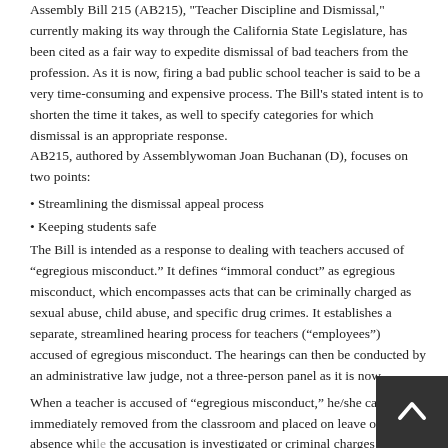Assembly Bill 215 (AB215), "Teacher Discipline and Dismissal," currently making its way through the California State Legislature, has been cited as a fair way to expedite dismissal of bad teachers from the profession. As it is now, firing a bad public school teacher is said to be a very time-consuming and expensive process. The Bill's stated intent is to shorten the time it takes, as well to specify categories for which dismissal is an appropriate response. AB215, authored by Assemblywoman Joan Buchanan (D), focuses on two points:
• Streamlining the dismissal appeal process
• Keeping students safe
The Bill is intended as a response to dealing with teachers accused of “egregious misconduct.” It defines “immoral conduct” as egregious misconduct, which encompasses acts that can be criminally charged as sexual abuse, child abuse, and specific drug crimes. It establishes a separate, streamlined hearing process for teachers (“employees”) accused of egregious misconduct. The hearings can then be conducted by an administrative law judge, not a three-person panel as it is now.
When a teacher is accused of “egregious misconduct,” he/she can be immediately removed from the classroom and placed on leave of absence while the accusation is investigated or criminal charges filed. Such leave may be paid as during an investigation, or unpaid as after a hearing has been held. This is